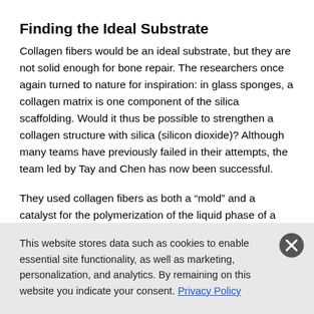Finding the Ideal Substrate
Collagen fibers would be an ideal substrate, but they are not solid enough for bone repair. The researchers once again turned to nature for inspiration: in glass sponges, a collagen matrix is one component of the silica scaffolding. Would it thus be possible to strengthen a collagen structure with silica (silicon dioxide)? Although many teams have previously failed in their attempts, the team led by Tay and Chen has now been successful.
They used collagen fibers as both a “mold” and a catalyst for the polymerization of the liquid phase of a silica precursor compound to make solid silica. The silica precursor is stabilized with choline to prevent an uncontrolled polymerization. This leaves enough time for the liquid to
This website stores data such as cookies to enable essential site functionality, as well as marketing, personalization, and analytics. By remaining on this website you indicate your consent. Privacy Policy